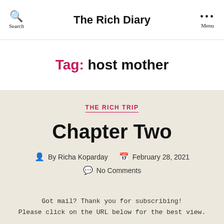Search   The Rich Diary   Menu
Tag: host mother
THE RICH TRIP
Chapter Two
By Richa Koparday   February 28, 2021   No Comments
Got mail? Thank you for subscribing! Please click on the URL below for the best view.